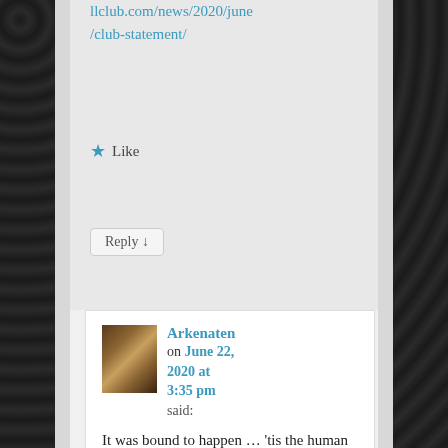llclub.com/news/2020/june/club-statement/
★ Like
Reply ↓
Arkenaten on June 22, 2020 at 3:35 pm said:
It was bound to happen … 'tis the human condition. SMH
★ Liked by 1 person
Reply ↓